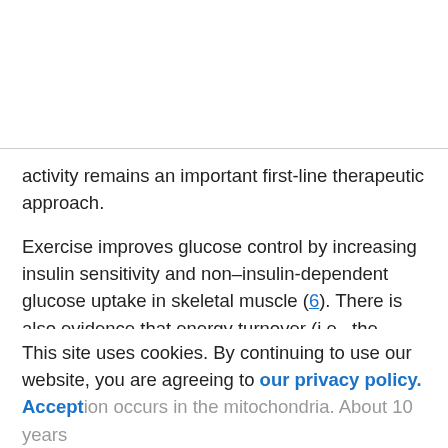activity remains an important first-line therapeutic approach.
Exercise improves glucose control by increasing insulin sensitivity and non–insulin-dependent glucose uptake in skeletal muscle (6). There is also evidence that energy turnover (i.e., the oxidation of glucose and fatty acids) during muscle contraction is important for preventing the
This site uses cookies. By continuing to use our website, you are agreeing to our privacy policy.
Accept